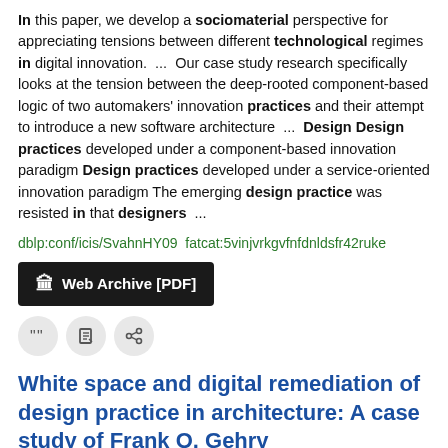In this paper, we develop a sociomaterial perspective for appreciating tensions between different technological regimes in digital innovation.  ...  Our case study research specifically looks at the tension between the deep-rooted component-based logic of two automakers' innovation practices and their attempt to introduce a new software architecture  ...  Design Design practices developed under a component-based innovation paradigm Design practices developed under a service-oriented innovation paradigm The emerging design practice was resisted in that designers  ...
dblp:conf/icis/SvahnHY09  fatcat:5vinjvrkgvfnfdnldsfr42ruke
Web Archive [PDF]
White space and digital remediation of design practice in architecture: A case study of Frank O. Gehry
Marios Samdanis, Soo Hee Lee
2017 Information and organization
This paper also stresses the importance of power relations for the construction of digital materiality, which, in turn, influences design practice and innovation in architecture. The analysis of ...